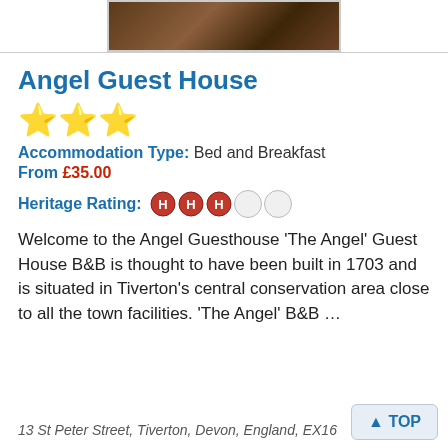[Figure (photo): Partial photo of a room interior, brown/dark tones, cropped at top]
Angel Guest House
[Figure (other): Three gold star rating icons]
Accommodation Type: Bed and Breakfast
From £35.00
Heritage Rating: HHH (3 filled heritage H icons, 2 empty circles)
Welcome to the Angel Guesthouse 'The Angel' Guest House B&B is thought to have been built in 1703 and is situated in Tiverton's central conservation area close to all the town facilities. 'The Angel' B&B …
13 St Peter Street, Tiverton, Devon, England, EX16
TOP